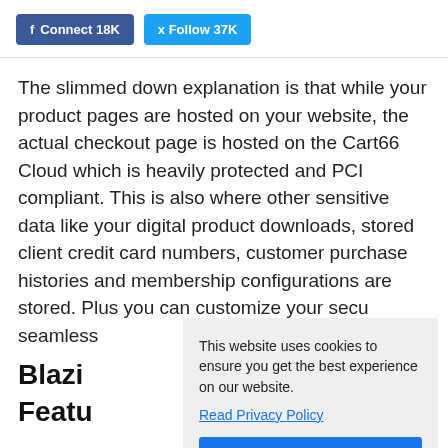f Connect 18K   Follow 37K
The slimmed down explanation is that while your product pages are hosted on your website, the actual checkout page is hosted on the Cart66 Cloud which is heavily protected and PCI compliant. This is also where other sensitive data like your digital product downloads, stored client credit card numbers, customer purchase histories and membership configurations are stored. Plus you can customize your secu seamless
This website uses cookies to ensure you get the best experience on our website. Read Privacy Policy
Got it!
Blazi Featu